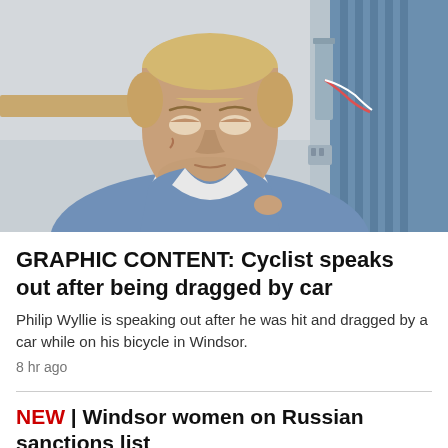[Figure (photo): A man lying in a hospital bed, appearing to be a patient. He is wearing a light-colored hospital gown and has short blonde hair. Medical equipment and blue curtains are visible in the background.]
GRAPHIC CONTENT: Cyclist speaks out after being dragged by car
Philip Wyllie is speaking out after he was hit and dragged by a car while on his bicycle in Windsor.
8 hr ago
NEW | Windsor women on Russian sanctions list
9 min ago